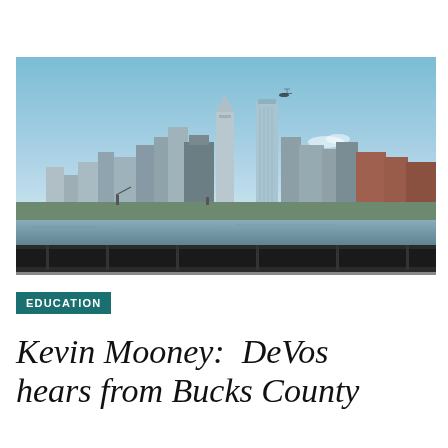[Figure (photo): Philadelphia city skyline viewed from across the Delaware River on a clear blue-sky day. A helicopter is visible in the sky. The skyline shows multiple skyscrapers including Comcast Technology Center and One Liberty Place. In the foreground is a dark railing/bridge structure and the waterfront.]
EDUCATION
Kevin Mooney:  DeVos hears from Bucks County